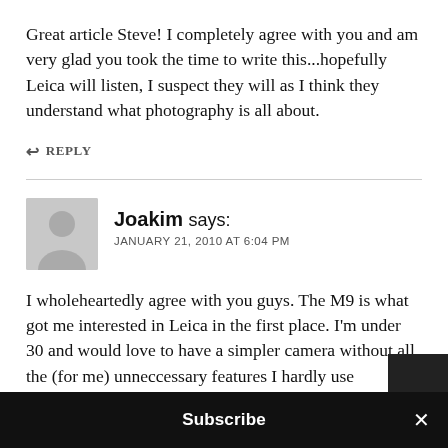Great article Steve! I completely agree with you and am very glad you took the time to write this...hopefully Leica will listen, I suspect they will as I think they understand what photography is all about.
↩ REPLY
Joakim says:
JANUARY 21, 2010 AT 6:04 PM
I wholeheartedly agree with you guys. The M9 is what got me interested in Leica in the first place. I'm under 30 and would love to have a simpler camera without all the (for me) unneccessary features I hardly use
Subscribe ×